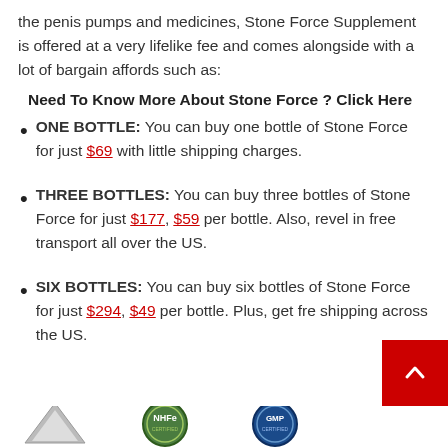the penis pumps and medicines, Stone Force Supplement is offered at a very lifelike fee and comes alongside with a lot of bargain affords such as:
Need To Know More About Stone Force ? Click Here
ONE BOTTLE: You can buy one bottle of Stone Force for just $69 with little shipping charges.
THREE BOTTLES: You can buy three bottles of Stone Force for just $177, $59 per bottle. Also, revel in free transport all over the US.
SIX BOTTLES: You can buy six bottles of Stone Force for just $294, $49 per bottle. Plus, get free shipping across the US.
[Figure (other): Trust badge icons partially visible at bottom of page]